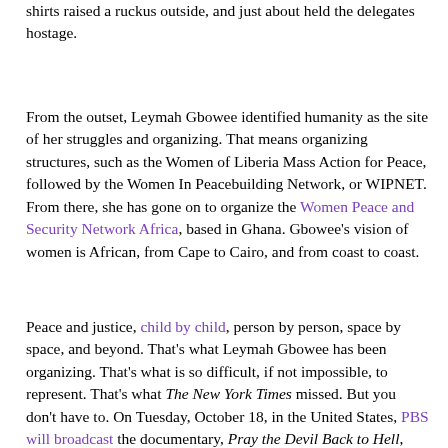shirts raised a ruckus outside, and just about held the delegates hostage.
From the outset, Leymah Gbowee identified humanity as the site of her struggles and organizing. That means organizing structures, such as the Women of Liberia Mass Action for Peace, followed by the Women In Peacebuilding Network, or WIPNET. From there, she has gone on to organize the Women Peace and Security Network Africa, based in Ghana. Gbowee's vision of women is African, from Cape to Cairo, and from coast to coast.
Peace and justice, child by child, person by person, space by space, and beyond. That's what Leymah Gbowee has been organizing. That's what is so difficult, if not impossible, to represent. That's what The New York Times missed. But you don't have to. On Tuesday, October 18, in the United States, PBS will broadcast the documentary, Pray the Devil Back to Hell, about the work of Leymah Gbowee. Don't miss it. It's inspiring, as is its subject.